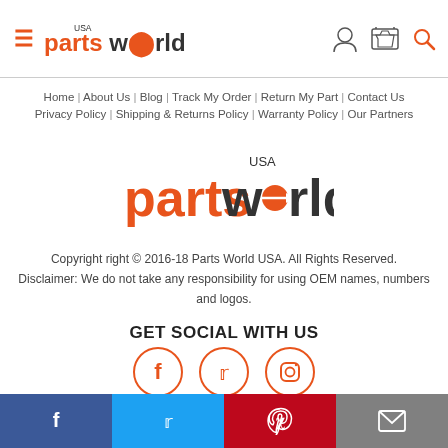Parts World USA - header with hamburger menu, logo, user/cart/search icons
Home | About Us | Blog | Track My Order | Return My Part | Contact Us
Privacy Policy | Shipping & Returns Policy | Warranty Policy | Our Partners
[Figure (logo): Parts World USA logo - large centered version with orange 'parts' text and black 'world' text]
Copyright right © 2016-18 Parts World USA. All Rights Reserved. Disclaimer: We do not take any responsibility for using OEM names, numbers and logos.
GET SOCIAL WITH US
[Figure (illustration): Social media icons: Facebook, Twitter, Instagram in orange circles]
[Figure (logo): GoDaddy Verified & Secured badge]
Social sharing bar: Facebook, Twitter, Pinterest, Email